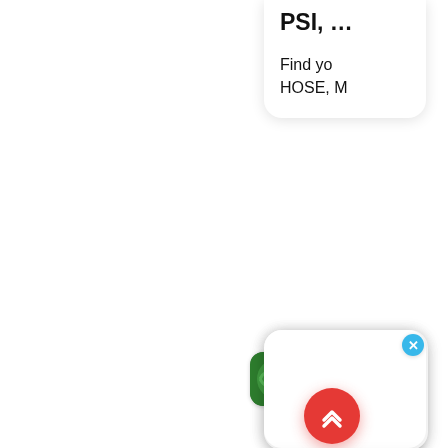PSI, …
Find yo HOSE, M
[Figure (screenshot): Chat app icon with speech bubbles on blue rounded square background, with X close button in top right corner. Partially visible green hose product icon to the left.]
Balfle› Middle East Tradin LLC
MULTI PURPO FOOD GRADE